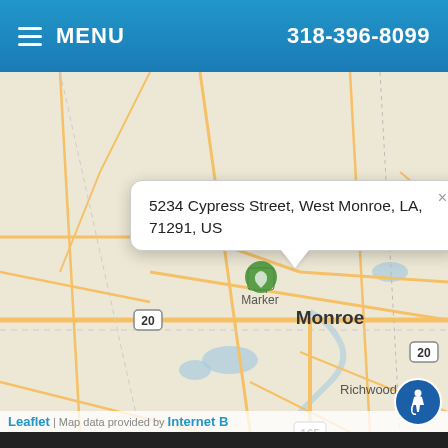MENU   318-396-8099
[Figure (map): Street map centered on Monroe, LA area showing West Monroe, Richwood, Eros, road networks including Highway 20 and Highway 165, with a map marker popup showing '5234 Cypress Street, West Monroe, LA, 71291, US'. Leaflet map with Internet B... attribution.]
Leaflet | Map data provided by Internet B...